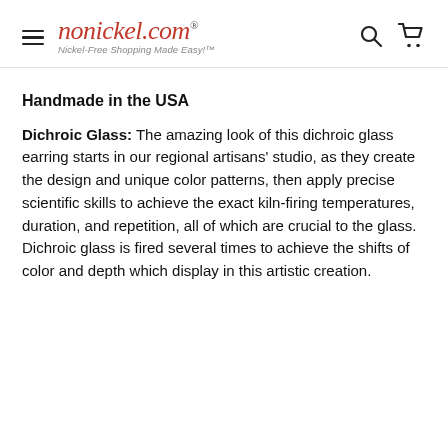nonickel.com® — Nickel-Free Shopping Made Easy!™
Handmade in the USA
Dichroic Glass: The amazing look of this dichroic glass earring starts in our regional artisans' studio, as they create the design and unique color patterns, then apply precise scientific skills to achieve the exact kiln-firing temperatures, duration, and repetition, all of which are crucial to the glass. Dichroic glass is fired several times to achieve the shifts of color and depth which display in this artistic creation.